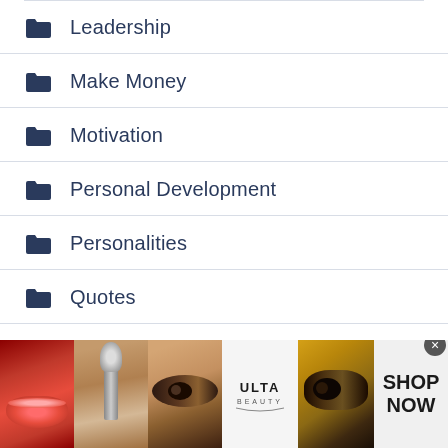Leadership
Make Money
Motivation
Personal Development
Personalities
Quotes
Relationships
Reviews
[Figure (photo): Advertisement banner for ULTA Beauty showing cosmetic images (lips with lipstick, makeup brush, eye makeup, ULTA logo, smoky eye) with SHOP NOW call to action]